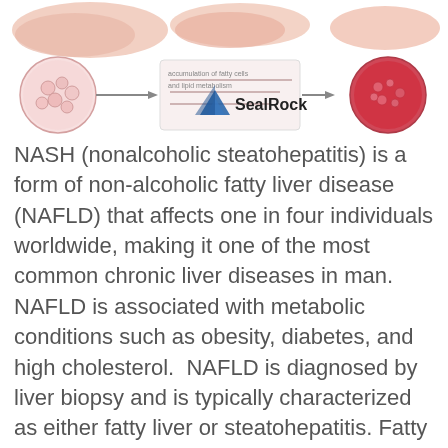[Figure (illustration): Medical illustration showing liver anatomy and NAFLD/NASH progression stages with microscopic tissue cross-sections, arrows indicating disease progression, and a SealRock logo overlay]
NASH (nonalcoholic steatohepatitis) is a form of non-alcoholic fatty liver disease (NAFLD) that affects one in four individuals worldwide, making it one of the most common chronic liver diseases in man. NAFLD is associated with metabolic conditions such as obesity, diabetes, and high cholesterol. NAFLD is diagnosed by liver biopsy and is typically characterized as either fatty liver or steatohepatitis. Fatty liver is generally non-progressive or progresses slowly compared to steatohepatitis. NASH, which is steatohepatitis not caused by alcohol, is characterized by inflammation of the liver, which progresses to fibrotic remodeling (scarring) in 30–50% of